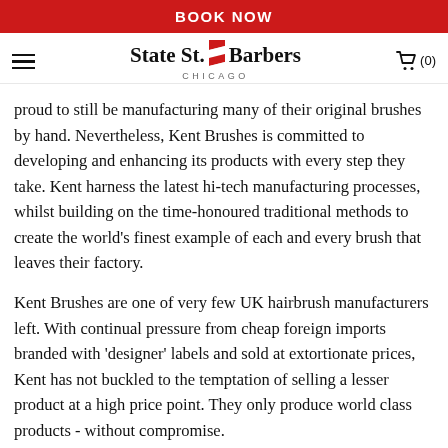BOOK NOW
[Figure (logo): State St. Barbers Chicago logo with red and white barber pole stripe icon]
proud to still be manufacturing many of their original brushes by hand. Nevertheless, Kent Brushes is committed to developing and enhancing its products with every step they take. Kent harness the latest hi-tech manufacturing processes, whilst building on the time-honoured traditional methods to create the world's finest example of each and every brush that leaves their factory.
Kent Brushes are one of very few UK hairbrush manufacturers left. With continual pressure from cheap foreign imports branded with 'designer' labels and sold at extortionate prices, Kent has not buckled to the temptation of selling a lesser product at a high price point. They only produce world class products - without compromise.